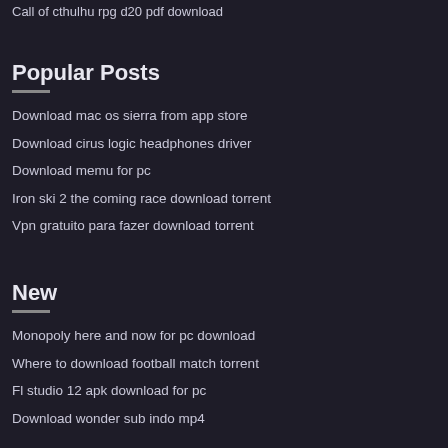Call of cthulhu rpg d20 pdf download
Popular Posts
Download mac os sierra from app store
Download cirus logic headphones driver
Download memu for pc
Iron ski 2 the coming race download torrent
Vpn gratuito para fazer download torrent
New
Monopoly here and now for pc download
Where to download football match torrent
Fl studio 12 apk download for pc
Download wonder sub indo mp4